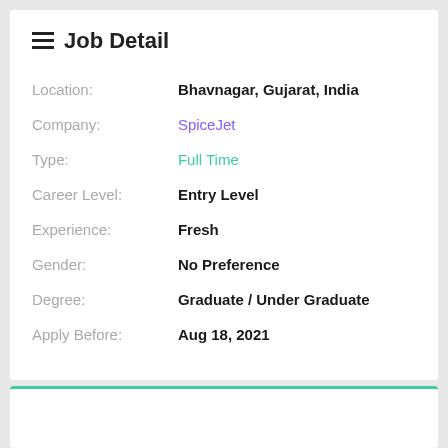Job Detail
| Field | Value |
| --- | --- |
| Location: | Bhavnagar, Gujarat, India |
| Company: | SpiceJet |
| Type: | Full Time |
| Career Level: | Entry Level |
| Experience: | Fresh |
| Gender: | No Preference |
| Degree: | Graduate / Under Graduate |
| Apply Before: | Aug 18, 2021 |